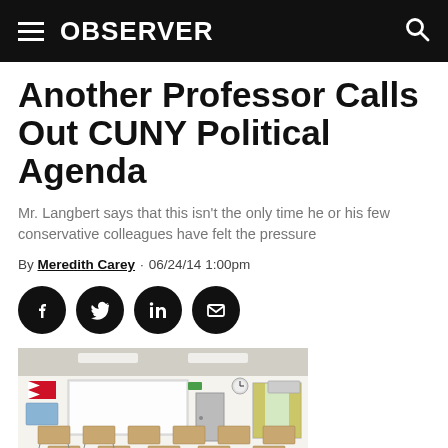OBSERVER
Another Professor Calls Out CUNY Political Agenda
Mr. Langbert says that this isn't the only time he or his few conservative colleagues have felt the pressure
By Meredith Carey · 06/24/14 1:00pm
[Figure (other): Social sharing buttons: Facebook, Twitter, LinkedIn, Email]
[Figure (photo): A classroom with rows of desks and chairs, whiteboards on the wall, and a Bahrain flag visible, with yellow curtains on windows]